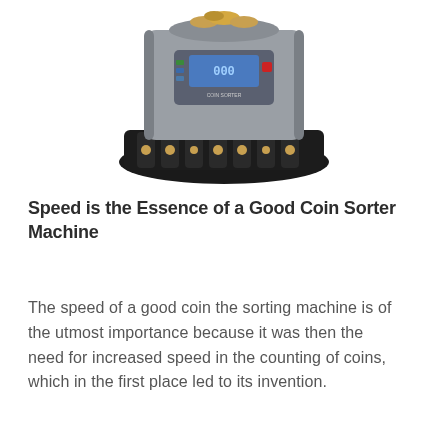[Figure (photo): A coin sorter machine viewed from above/front. It has a grey body with a blue LCD display panel showing '000', several buttons including green and red ones, and a black coin sorting tray/base with multiple slots at the bottom. Coins are visible at the top of the machine.]
Speed is the Essence of a Good Coin Sorter Machine
The speed of a good coin the sorting machine is of the utmost importance because it was then the need for increased speed in the counting of coins, which in the first place led to its invention.